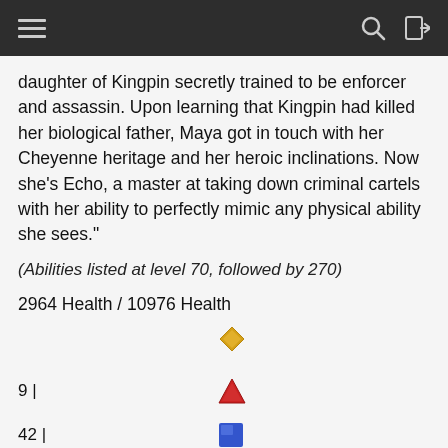daughter of Kingpin secretly trained to be enforcer and assassin. Upon learning that Kingpin had killed her biological father, Maya got in touch with her Cheyenne heritage and her heroic inclinations. Now she's Echo, a master at taking down criminal cartels with her ability to perfectly mimic any physical ability she sees."
(Abilities listed at level 70, followed by 270)
2964 Health / 10976 Health
9 |
42 |
8 |